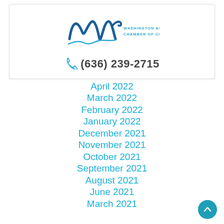[Figure (logo): Washington Area Chamber of Commerce logo with stylized W and text]
(636) 239-2715
April 2022
March 2022
February 2022
January 2022
December 2021
November 2021
October 2021
September 2021
August 2021
June 2021
March 2021